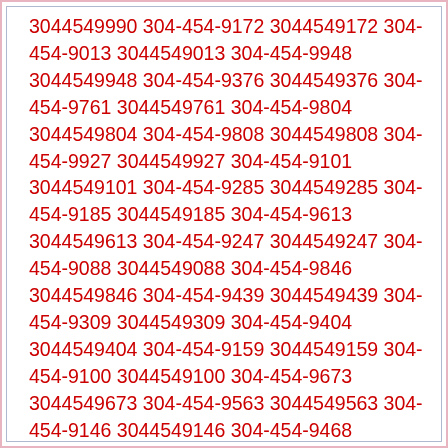3044549990 304-454-9172 3044549172 304-454-9013 3044549013 304-454-9948 3044549948 304-454-9376 3044549376 304-454-9761 3044549761 304-454-9804 3044549804 304-454-9808 3044549808 304-454-9927 3044549927 304-454-9101 3044549101 304-454-9285 3044549285 304-454-9185 3044549185 304-454-9613 3044549613 304-454-9247 3044549247 304-454-9088 3044549088 304-454-9846 3044549846 304-454-9439 3044549439 304-454-9309 3044549309 304-454-9404 3044549404 304-454-9159 3044549159 304-454-9100 3044549100 304-454-9673 3044549673 304-454-9563 3044549563 304-454-9146 3044549146 304-454-9468 3044549468 304-454-9419 3044549419 304-454-9744 3044549744 304-454-9783 3044549783 304-454-9647 3044549647 304-454-9838 3044549838 304-454-9047 3044549047 304-454-9929 3044549929 304-454-9338 3044549338 304-454-9577 3044549577 304-454-9528 3044549528 304-